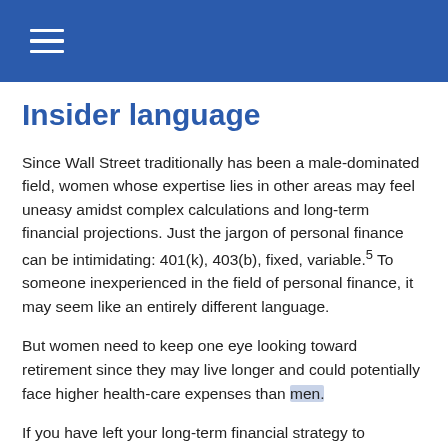Insider language
Since Wall Street traditionally has been a male-dominated field, women whose expertise lies in other areas may feel uneasy amidst complex calculations and long-term financial projections. Just the jargon of personal finance can be intimidating: 401(k), 403(b), fixed, variable.5 To someone inexperienced in the field of personal finance, it may seem like an entirely different language.
But women need to keep one eye looking toward retirement since they may live longer and could potentially face higher health-care expenses than men.
If you have left your long-term financial strategy to